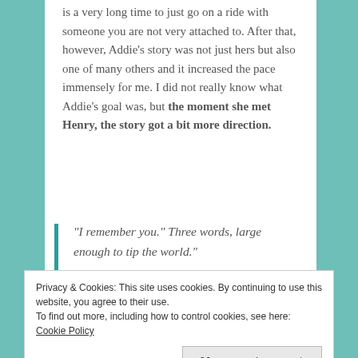is a very long time to just go on a ride with someone you are not very attached to. After that, however, Addie’s story was not just hers but also one of many others and it increased the pace immensely for me. I did not really know what Addie’s goal was, but the moment she met Henry, the story got a bit more direction.
“I remember you.” Three words, large enough to tip the world.”
Henry tipped the scales of the story. He was kind and
Privacy & Cookies: This site uses cookies. By continuing to use this website, you agree to their use.
To find out more, including how to control cookies, see here: Cookie Policy
Close and accept
encounter entailed. But those two held on to each